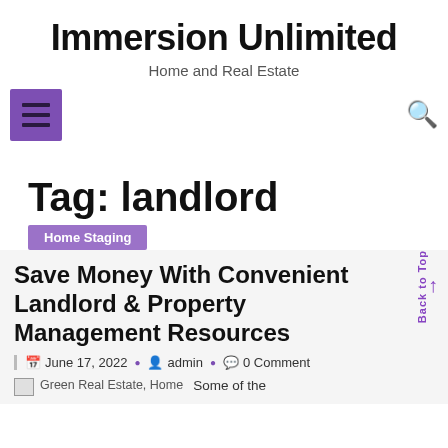Immersion Unlimited
Home and Real Estate
[Figure (other): Hamburger menu icon (purple square with three horizontal lines) and search icon]
Tag: landlord
Home Staging
Save Money With Convenient Landlord & Property Management Resources
June 17, 2022  •  admin  •  0 Comment
Green Real Estate, Home
Some of the